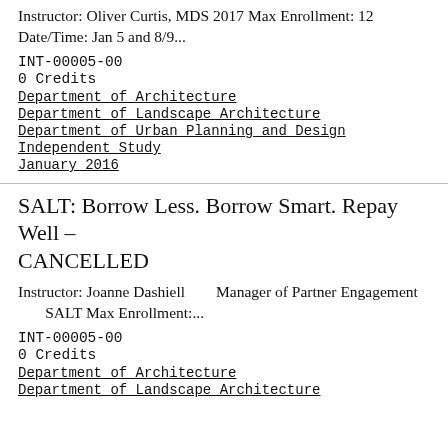Instructor: Oliver Curtis, MDS 2017 Max Enrollment: 12
Date/Time: Jan 5 and 8/9...
INT-00005-00
0 Credits
Department of Architecture
Department of Landscape Architecture
Department of Urban Planning and Design
Independent Study
January 2016
SALT: Borrow Less. Borrow Smart. Repay Well – CANCELLED
Instructor: Joanne Dashiell          Manager of Partner Engagement          SALT Max Enrollment:...
INT-00005-00
0 Credits
Department of Architecture
Department of Landscape Architecture